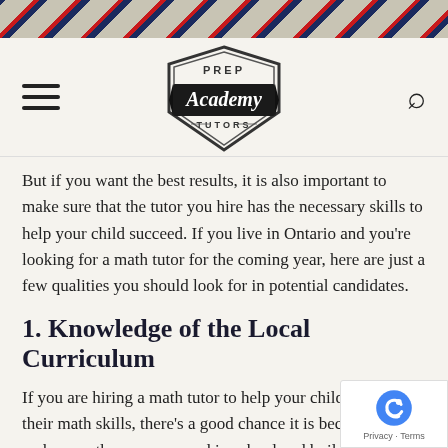[Figure (illustration): Diagonal stripe banner in beige, navy, and red colors at top of page]
[Figure (logo): Prep Academy Tutors badge logo with shield shape, black ribbon banner reading 'Academy' in script font, 'PREP' above and 'TUTORS' below]
But if you want the best results, it is also important to make sure that the tutor you hire has the necessary skills to help your child succeed. If you live in Ontario and you're looking for a math tutor for the coming year, here are just a few qualities you should look for in potential candidates.
1. Knowledge of the Local Curriculum
If you are hiring a math tutor to help your child improve their math skills, there's a good chance it is because you to make sure they can succeed in school and build the of transcript that will give them plenty of options when it